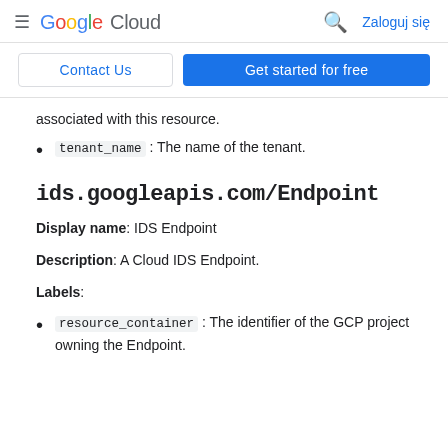Google Cloud  Zaloguj się
Contact Us  Get started for free
associated with this resource.
tenant_name : The name of the tenant.
ids.googleapis.com/Endpoint
Display name: IDS Endpoint
Description: A Cloud IDS Endpoint.
Labels:
resource_container : The identifier of the GCP project owning the Endpoint.